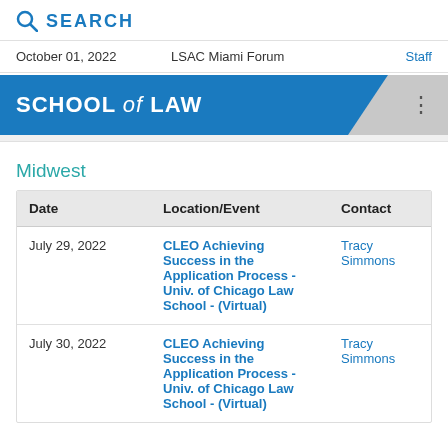SEARCH
October 01, 2022 | LSAC Miami Forum | Staff
[Figure (other): School of Law banner logo with blue background and decorative triangle cutout]
Midwest
| Date | Location/Event | Contact |
| --- | --- | --- |
| July 29, 2022 | CLEO Achieving Success in the Application Process - Univ. of Chicago Law School - (Virtual) | Tracy Simmons |
| July 30, 2022 | CLEO Achieving Success in the Application Process - Univ. of Chicago Law School - (Virtual) | Tracy Simmons |